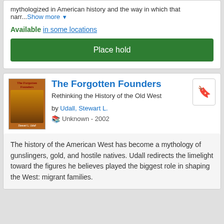mythologized in American history and the way in which that narr...Show more
Available in some locations
Place hold
The Forgotten Founders
Rethinking the History of the Old West
by Udall, Stewart L.
Unknown - 2002
The history of the American West has become a mythology of gunslingers, gold, and hostile natives. Udall redirects the limelight toward the figures he believes played the biggest role in shaping the West: migrant families.